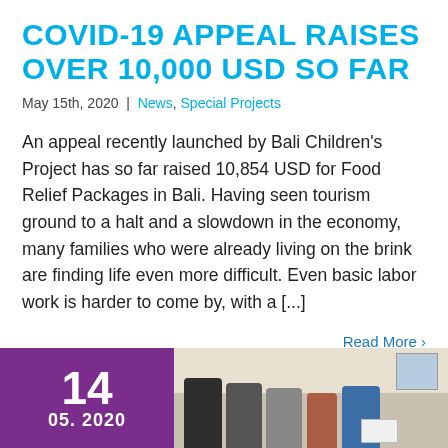COVID-19 APPEAL RAISES OVER 10,000 USD SO FAR
May 15th, 2020 | News, Special Projects
An appeal recently launched by Bali Children's Project has so far raised 10,854 USD for Food Relief Packages in Bali. Having seen tourism ground to a halt and a slowdown in the economy, many families who were already living on the brink are finding life even more difficult. Even basic labor work is harder to come by, with a [...]
Read More >
[Figure (other): Date card showing '14 / 05. 2020' on purple background, followed by a photo of people handing over boxes, wearing masks, in an indoor setting]